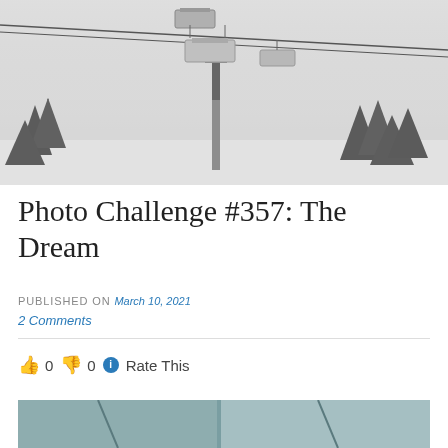[Figure (photo): Winter ski lift scene in foggy/misty conditions. Chairlift gondolas hanging from cables above snow-covered slopes with dark pine trees in the background, black and white/desaturated tones.]
Photo Challenge #357: The Dream
PUBLISHED ON March 10, 2021
2 Comments
👍 0 👎 0 ℹ Rate This
[Figure (photo): Partial view of another photo, appears to show ski equipment or abstract shapes in muted teal/grey tones.]